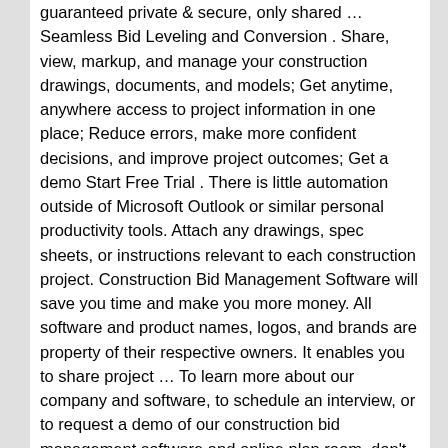guaranteed private & secure, only shared … Seamless Bid Leveling and Conversion . Share, view, markup, and manage your construction drawings, documents, and models; Get anytime, anywhere access to project information in one place; Reduce errors, make more confident decisions, and improve project outcomes; Get a demo Start Free Trial . There is little automation outside of Microsoft Outlook or similar personal productivity tools. Attach any drawings, spec sheets, or instructions relevant to each construction project. Construction Bid Management Software will save you time and make you more money. All software and product names, logos, and brands are property of their respective owners. It enables you to share project … To learn more about our company and software, to schedule an interview, or to request a demo of our construction bid management software and online plan room, don't hesitate to contact our team today! The study also involves the important Achievements of the market, Research & Development, new product launch, product responses and regional growth of the leading competitors … Compare the best Construction Management software of 2020 for your business. How …